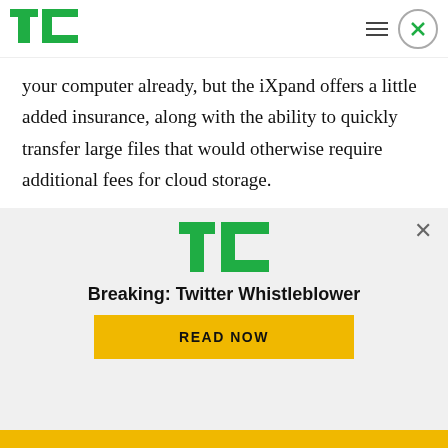TechCrunch
your computer already, but the iXpand offers a little added insurance, along with the ability to quickly transfer large files that would otherwise require additional fees for cloud storage.
The latter is the more compelling case use, as anyone with a 16GB iPhone will gladly bend your ear about at length. Of course, whether or not the
[Figure (logo): TechCrunch logo (green TC letters) in promotional overlay]
Breaking: Twitter Whistleblower
READ NOW